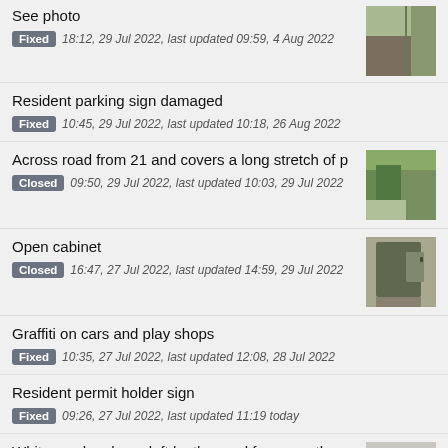See photo | Fixed | 18:12, 29 Jul 2022, last updated 09:59, 4 Aug 2022
Resident parking sign damaged | Fixed | 10:45, 29 Jul 2022, last updated 10:18, 26 Aug 2022
Across road from 21 and covers a long stretch of p | Closed | 09:50, 29 Jul 2022, last updated 10:03, 29 Jul 2022
Open cabinet | Closed | 16:47, 27 Jul 2022, last updated 14:59, 29 Jul 2022
Graffiti on cars and play shops | Fixed | 10:35, 27 Jul 2022, last updated 12:08, 28 Jul 2022
Resident permit holder sign | Fixed | 09:26, 27 Jul 2022, last updated 11:19 today
White van has been left by the road for a month